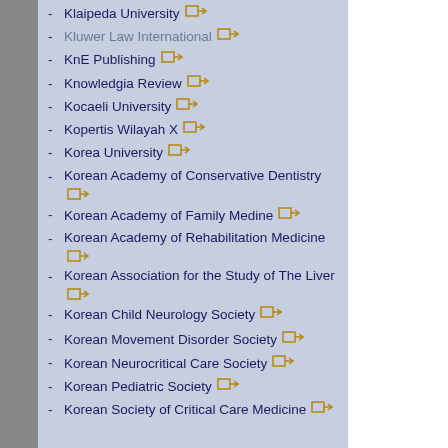Klaipeda University
Kluwer Law International
KnE Publishing
Knowledgia Review
Kocaeli University
Kopertis Wilayah X
Korea University
Korean Academy of Conservative Dentistry
Korean Academy of Family Medine
Korean Academy of Rehabilitation Medicine
Korean Association for the Study of The Liver
Korean Child Neurology Society
Korean Movement Disorder Society
Korean Neurocritical Care Society
Korean Pediatric Society
Korean Society of Critical Care Medicine